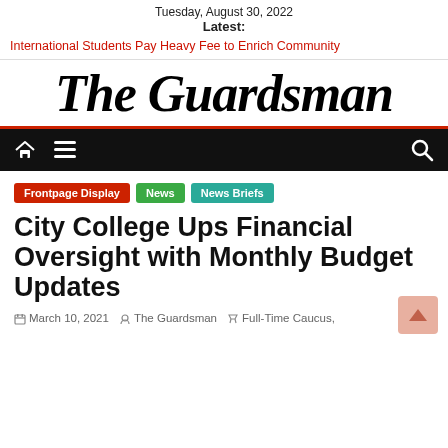Tuesday, August 30, 2022
Latest:
International Students Pay Heavy Fee to Enrich Community
The Guardsman
[Figure (other): Navigation bar with home icon, hamburger menu icon, and search icon on black background]
Frontpage Display
News
News Briefs
City College Ups Financial Oversight with Monthly Budget Updates
March 10, 2021   The Guardsman   Full-Time Caucus,